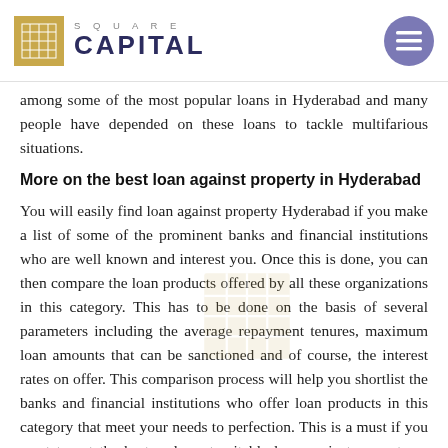SQUARE CAPITAL
among some of the most popular loans in Hyderabad and many people have depended on these loans to tackle multifarious situations.
More on the best loan against property in Hyderabad
You will easily find loan against property Hyderabad if you make a list of some of the prominent banks and financial institutions who are well known and interest you. Once this is done, you can then compare the loan products offered by all these organizations in this category. This has to be done on the basis of several parameters including the average repayment tenures, maximum loan amounts that can be sanctioned and of course, the interest rates on offer. This comparison process will help you shortlist the banks and financial institutions who offer loan products in this category that meet your needs to perfection. This is a must if you want to get the best and most suitable loan against property as per your needs.